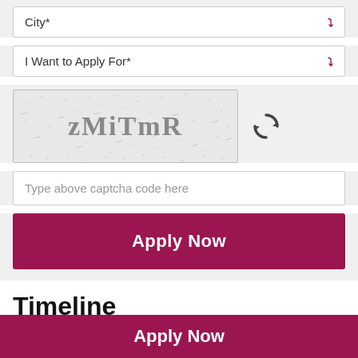City*
I Want to Apply For*
[Figure (other): CAPTCHA image showing distorted text 'zMiTmR' with noise dots on grey background, with a refresh/reload icon to the right]
Type above captcha code here
Apply Now
Timeline
We dedicated 4 branches in the North-East, in the presence of the Hon'ble Finance Minister, Smt. Nirmala Sitharaman... https://t.co/eZISPijytI
Posted on : 29 Aug 2022
Apply Now